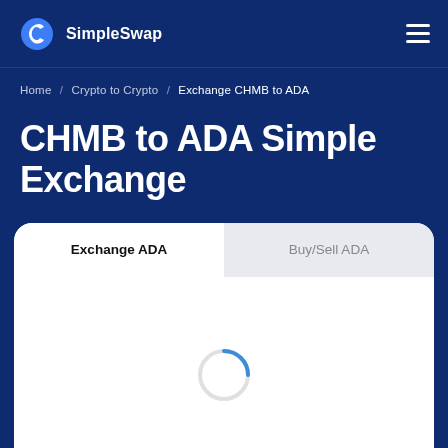SimpleSwap
Home / Crypto to Crypto / Exchange CHMB to ADA
CHMB to ADA Simple Exchange
Exchange ADA | Buy/Sell ADA
[Figure (other): Loading spinner (circular arc in blue) inside the exchange widget card body]